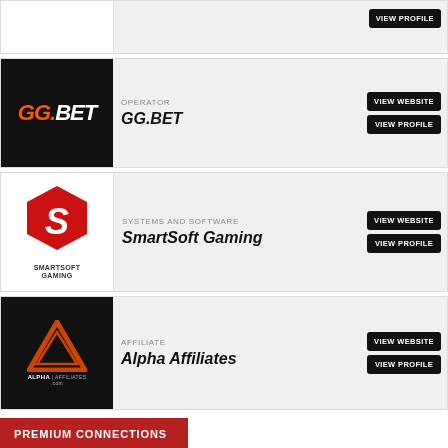[Figure (logo): Partial card at top, logo cut off]
[Figure (logo): GG.BET logo on black background - orange GG and white BET text]
OPERATOR
GG.BET
[Figure (logo): SmartSoft Gaming logo - red hexagonal S shape with SMARTSOFT GAMING text below]
SYSTEMS AND SOFTWARE
SmartSoft Gaming
[Figure (logo): Alpha Affiliates logo - orange triangle A shape with ALPHA AFFILIATES.COM text on black background]
AFFILIATE
Alpha Affiliates
PREMIUM CONNECTIONS
[Figure (logo): Partial bottom card with gold circular logo, INDUSTRY AWARDS text visible]